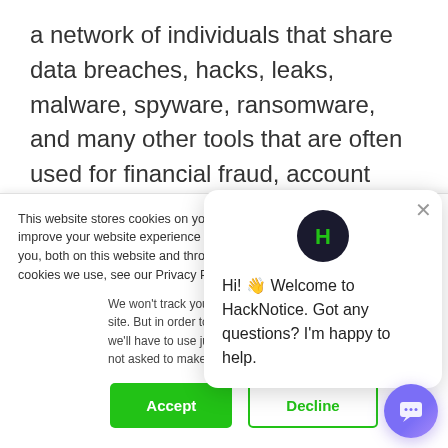a network of individuals that share data breaches, hacks, leaks, malware, spyware, ransomware, and many other tools that are often used for financial fraud, account read overs, and further breaches and hacks. HackNotice monitors the hacker community specifically for breaches, hacks, and data leaks that bruise consumers. HackNotice applies industry specific knowledge and advanced security practices
This website stores cookies on your computer. These cookies are used to improve your website experience and provide more personalized services to you, both on this website and through other media. To find out more about the cookies we use, see our Privacy Policy.
We won't track your information when you visit our site. But in order to comply with your preferences, we'll have to use just one tiny cookie so that you're not asked to make this choice again.
Hi! 👋 Welcome to HackNotice. Got any questions? I'm happy to help.